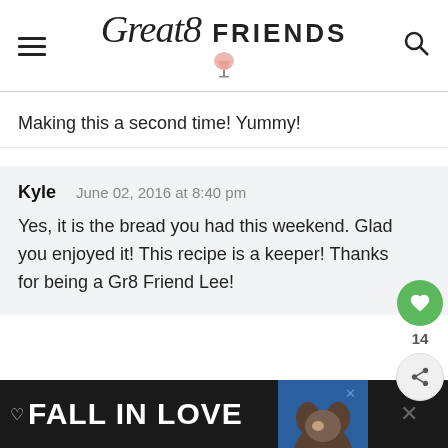Great8 FRIENDS
Making this a second time! Yummy!
Kyle  June 02, 2016 at 8:40 pm
Yes, it is the bread you had this weekend. Glad you enjoyed it! This recipe is a keeper! Thanks for being a Gr8 Friend Lee!
[Figure (screenshot): Advertisement banner at bottom: dark background with heart icon, 'FALL IN LOVE' text, dog photo, and close/X buttons.]